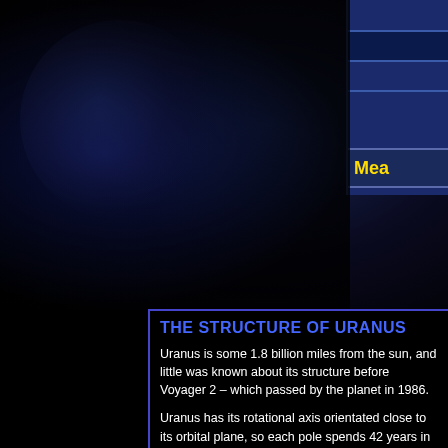[Figure (illustration): Dark space background with blue-tinted planet/Uranus glow in upper left area, and a dark blue navigation panel with horizontal lines in the upper right corner showing 'Mea...' label in yellow text]
THE STRUCTURE OF URANUS
Uranus is some 1.8 billion miles from the sun, and little was known about its structure before Voyager 2 – which passed by the planet in 1986.
Uranus has its rotational axis orientated close to its orbital plane, so each pole spends 42 years in darkness followed by 42 years in direct sunlight. You might expect it to be hottest there, but in actual fact this is not the case. Temperatures are roughly the same, since it takes longer than Uranus's orbital period to heat up or cool off.
Like the other gas giants Uranus is thought to have a small rocky core, surrounded by metallic hydrogen. The planet's outer layer consists largely of water and ammonia ices, and the atmosphere is so cold that methane and ammonia condense out of it. Methane also absorbs red light in the upper atmosphere.
RINGS AND MOONS
Like the other gas giants Uranus also has rings, and like Jupiter's rings they are indicated as additions often after the planet's rings were discovered.